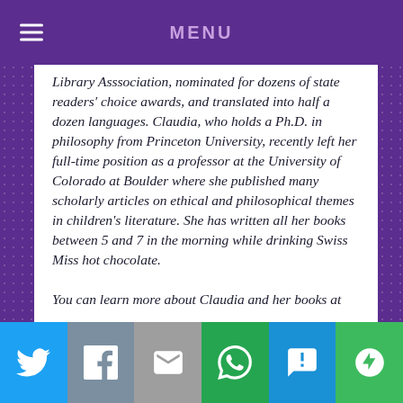MENU
Library Asssociation, nominated for dozens of state readers' choice awards, and translated into half a dozen languages. Claudia, who holds a Ph.D. in philosophy from Princeton University, recently left her full-time position as a professor at the University of Colorado at Boulder where she published many scholarly articles on ethical and philosophical themes in children's literature. She has written all her books between 5 and 7 in the morning while drinking Swiss Miss hot chocolate.

You can learn more about Claudia and her books at
Social share buttons: Twitter, Facebook, Email, WhatsApp, SMS, More